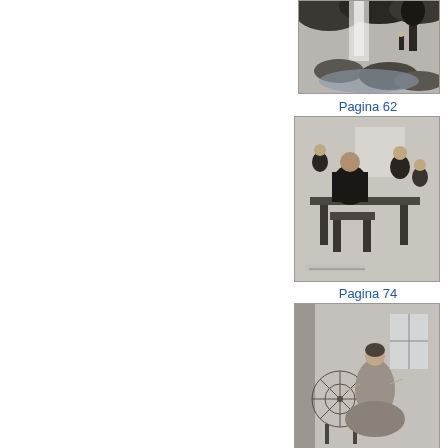[Figure (illustration): Black and white engraving showing a waterfall scene with a figure in a rocky landscape]
Pagina 62
[Figure (illustration): Black and white engraving showing several figures seated around a table in an interior scene]
Pagina 74
[Figure (illustration): Black and white engraving showing a woman seated near a spinning wheel by a window]